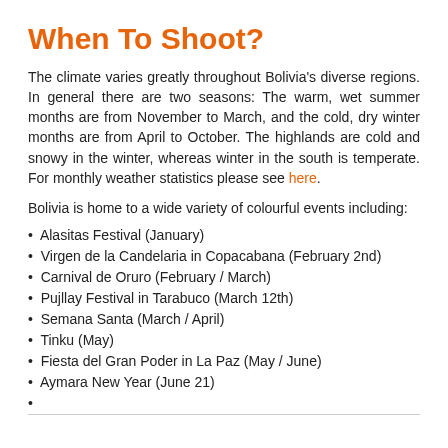When To Shoot?
The climate varies greatly throughout Bolivia's diverse regions. In general there are two seasons: The warm, wet summer months are from November to March, and the cold, dry winter months are from April to October. The highlands are cold and snowy in the winter, whereas winter in the south is temperate. For monthly weather statistics please see here.
Bolivia is home to a wide variety of colourful events including:
Alasitas Festival (January)
Virgen de la Candelaria in Copacabana (February 2nd)
Carnival de Oruro (February / March)
Pujllay Festival in Tarabuco (March 12th)
Semana Santa (March / April)
Tinku (May)
Fiesta del Gran Poder in La Paz (May / June)
Aymara New Year (June 21)